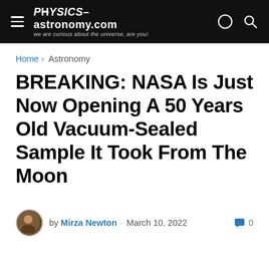PHYSICS-astronomy.com — we are curious about the universe, are you!
Home > Astronomy
BREAKING: NASA Is Just Now Opening A 50 Years Old Vacuum-Sealed Sample It Took From The Moon
by Mirza Newton · March 10, 2022  0